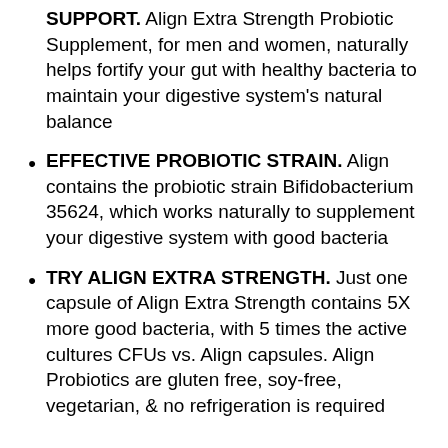SUPPORT. Align Extra Strength Probiotic Supplement, for men and women, naturally helps fortify your gut with healthy bacteria to maintain your digestive system's natural balance
EFFECTIVE PROBIOTIC STRAIN. Align contains the probiotic strain Bifidobacterium 35624, which works naturally to supplement your digestive system with good bacteria
TRY ALIGN EXTRA STRENGTH. Just one capsule of Align Extra Strength contains 5X more good bacteria, with 5 times the active cultures CFUs vs. Align capsules. Align Probiotics are gluten free, soy-free, vegetarian, & no refrigeration is required